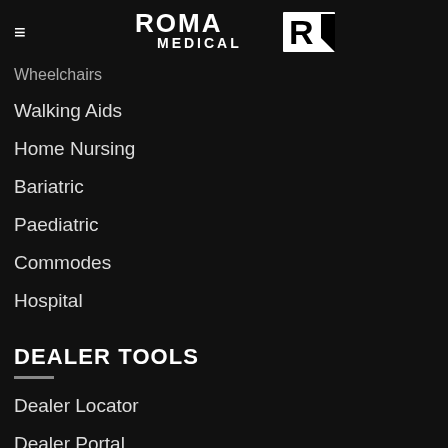Roma Medical — navigation header with logo
Wheelchairs
Walking Aids
Home Nursing
Bariatric
Paediatric
Commodes
Hospital
DEALER TOOLS
Dealer Locator
Dealer Portal
Hospital